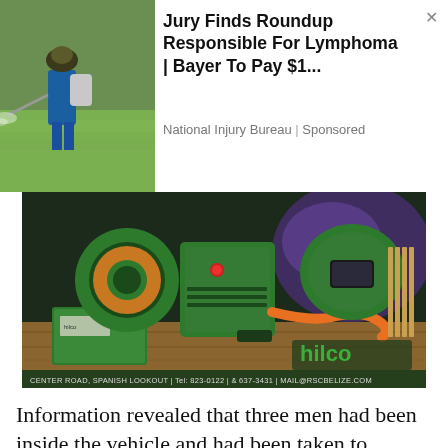[Figure (photo): Person in blue outfit and hat spraying pesticide/herbicide in a green field, carrying a backpack sprayer.]
Jury Finds Roundup Responsible For Lymphoma | Bayer To Pay $1...
National Injury Bureau | Sponsored
[Figure (photo): Hilco brand welding equipment advertisement showing a green welding machine, wire spool, welding helmet, orange cables, and welding electrodes on a wooden surface. Bottom text: CENTER ROAD, SPANISH LOOKOUT | Tel: 823-0122 | & 637-3431 | MAIL@RSCBELIZE.COM]
Information revealed that three men had been inside the vehicle and had been taken to hospital with various injuries.
Driver Sean Guzman, 32, of Roaring Creek, Cayo District, and two others were heading to the Sibun River around 2:30 in the afternoon when—